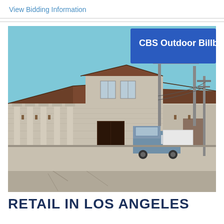View Bidding Information
[Figure (photo): Exterior photo of a commercial building in Los Angeles with a large CBS Outdoor Billboard mounted above on a metal structure. The building has a stucco/stone facade with Spanish-style tile roofs, decorative columns, and wall-mounted lanterns. A truck is parked in the lot. The billboard is bright blue with white text reading 'CBS Outdoor Billboard'.]
RETAIL IN LOS ANGELES